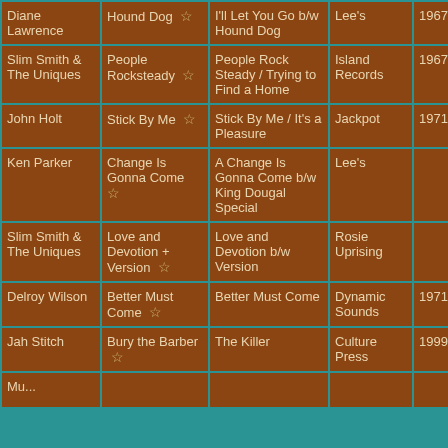| Artist | Track | Single | Label | Year | Time |
| --- | --- | --- | --- | --- | --- |
| Diane Lawrence | Hound Dog ☆ | I'll Let You Go b/w Hound Dog | Lee's | 1967 | 1:05:34 (Pop-up) |
| Slim Smith & The Uniques | People Rocksteady ☆ | People Rock Steady / Trying to Find a Home | Island Records | 1967 | 1:08:54 (Pop-up) |
| John Holt | Stick By Me ☆ | Stick By Me / It's a Pleasure | Jackpot | 1971 | 1:10:38 (Pop-up) |
| Ken Parker | Change Is Gonna Come ☆ | A Change Is Gonna Come b/w King Dougal Special | Lee's |  | 1:14:04 (Pop-up) |
| Slim Smith & The Uniques | Love and Devotion + Version ☆ | Love and Devotion b/w Version | Rosie Uprising |  | 1:17:22 (Pop-up) |
| Delroy Wilson | Better Must Come ☆ | Better Must Come | Dynamic Sounds | 1971 | 1:23:11 (Pop-up) |
| Jah Stitch | Bury the Barber ☆ | The Killer | Culture Press | 1999 | 1:25:53 (Pop-up) |
| Mu... |  |  |  |  |  |